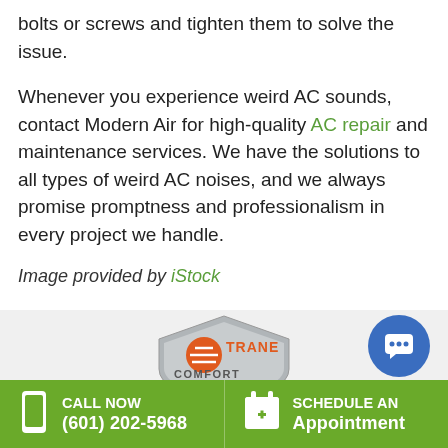bolts or screws and tighten them to solve the issue.
Whenever you experience weird AC sounds, contact Modern Air for high-quality AC repair and maintenance services. We have the solutions to all types of weird AC noises, and we always promise promptness and professionalism in every project we handle.
Image provided by iStock
[Figure (logo): Trane Comfort Specialist shield logo]
[Figure (other): Blue circular chat button with speech bubble icon]
CALL NOW (601) 202-5968   SCHEDULE AN Appointment